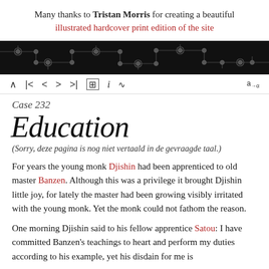Many thanks to Tristan Morris for creating a beautiful illustrated hardcover print edition of the site
[Figure (illustration): Black banner with circuit board pattern (traces and nodes on dark background)]
Navigation bar with symbols: ^ |< < > >| [grid] i [rss] a→α
Case 232
Education
(Sorry, deze pagina is nog niet vertaald in de gevraagde taal.)
For years the young monk Djishin had been apprenticed to old master Banzen. Although this was a privilege it brought Djishin little joy, for lately the master had been growing visibly irritated with the young monk. Yet the monk could not fathom the reason.
One morning Djishin said to his fellow apprentice Satou: I have committed Banzen's teachings to heart and perform my duties according to his example, yet his disdain for me is